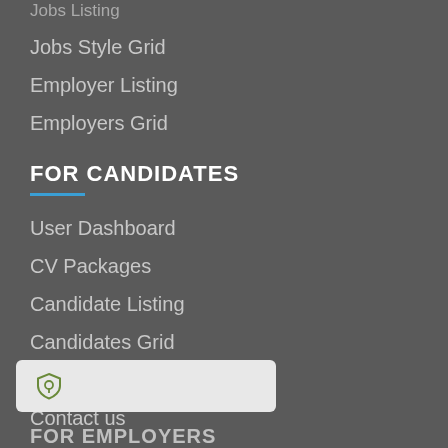Jobs Listing
Jobs Style Grid
Employer Listing
Employers Grid
FOR CANDIDATES
User Dashboard
CV Packages
Candidate Listing
Candidates Grid
About us
Contact us
[Figure (other): Plugin/widget bar with shield icon]
FOR EMPLOYERS